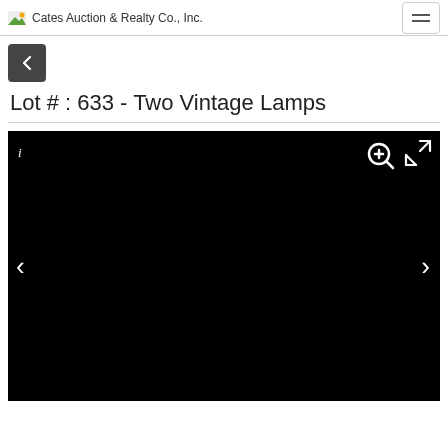Cates Auction & Realty Co., Inc.
Lot # : 633 - Two Vintage Lamps
[Figure (photo): Black image area (photo viewer) for auction lot 633 showing two vintage lamps, with navigation arrows on left and right, zoom and expand icons in top-right, and info icon in top-left.]